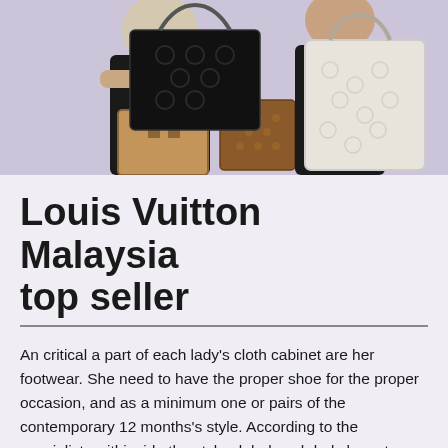[Figure (photo): Fashion photo of women holding Louis Vuitton handbags and totes in black, tan/brown, and white monogram patterns against a light purple background]
Louis Vuitton Malaysia top seller
An critical a part of each lady's cloth cabinet are her footwear. She need to have the proper shoe for the proper occasion, and as a minimum one or pairs of the contemporary 12 months's style. According to the specialists withinside the style global each lady have to have as a minimum 6 pairs of footwear. If you like style, then you definitely recognize that its